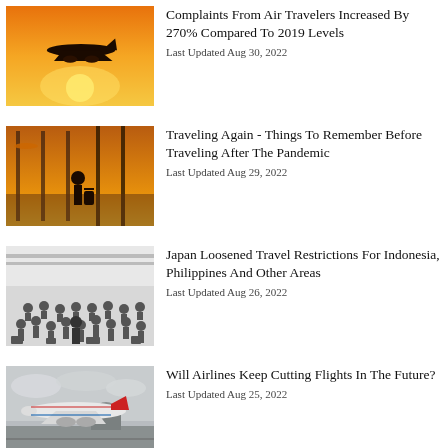[Figure (photo): Airplane silhouette flying against an orange sunset sky]
Complaints From Air Travelers Increased By 270% Compared To 2019 Levels
Last Updated Aug 30, 2022
[Figure (photo): Silhouette of traveler with luggage looking out airport window at sunset]
Traveling Again - Things To Remember Before Traveling After The Pandemic
Last Updated Aug 29, 2022
[Figure (photo): Crowded airport terminal with many passengers seated and standing]
Japan Loosened Travel Restrictions For Indonesia, Philippines And Other Areas
Last Updated Aug 26, 2022
[Figure (photo): American Airlines airplane landing near Washington DC with Capitol building visible]
Will Airlines Keep Cutting Flights In The Future?
Last Updated Aug 25, 2022